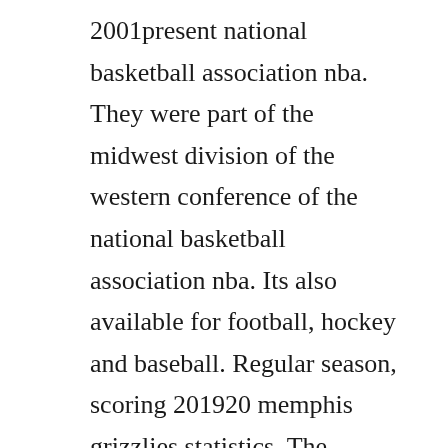2001present national basketball association nba. They were part of the midwest division of the western conference of the national basketball association nba. Its also available for football, hockey and baseball. Regular season, scoring 201920 memphis grizzlies statistics. The memphis grizzlies are an american professional basketball team based in memphis, tennessee. Who should the memphis grizzlies draft with the fourth.
The memphis grizzlies read to achieve program rta is in its 19th year and is an